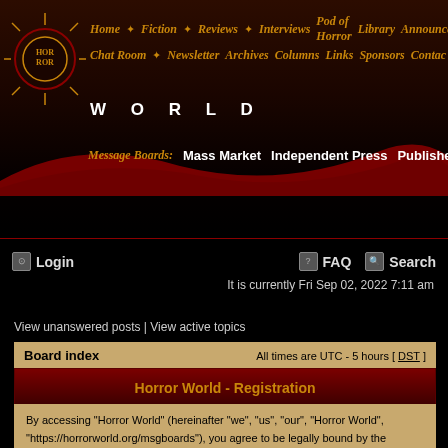Horror World website header with navigation: Home, Fiction, Reviews, Interviews, Pod of Horror, Library, Announcements, Chat Room, Newsletter, Archives, Columns, Links, Sponsors, Contact
Message Boards: Mass Market | Independent Press | Publishers | Other
Login
FAQ
Search
It is currently Fri Sep 02, 2022 7:11 am
View unanswered posts | View active topics
| Board index | All times are UTC - 5 hours [ DST ] |
| --- | --- |
Horror World - Registration
By accessing "Horror World" (hereinafter "we", "us", "our", "Horror World", "https://horrorworld.org/msgboards"), you agree to be legally bound by the following terms. If you do not agree to be